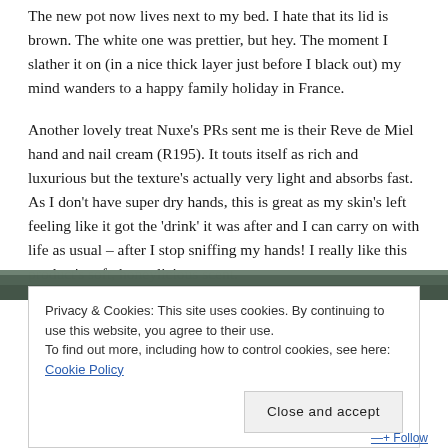The new pot now lives next to my bed. I hate that its lid is brown. The white one was prettier, but hey. The moment I slather it on (in a nice thick layer just before I black out) my mind wanders to a happy family holiday in France.
Another lovely treat Nuxe's PRs sent me is their Reve de Miel hand and nail cream (R195). It touts itself as rich and luxurious but the texture's actually very light and absorbs fast. As I don't have super dry hands, this is great as my skin's left feeling like it got the 'drink' it was after and I can carry on with life as usual – after I stop sniffing my hands! I really like this product's soft, honeylicious scent.
[Figure (photo): Partial view of an outdoor/nature photograph visible behind the cookie consent overlay]
Privacy & Cookies: This site uses cookies. By continuing to use this website, you agree to their use.
To find out more, including how to control cookies, see here: Cookie Policy
Close and accept